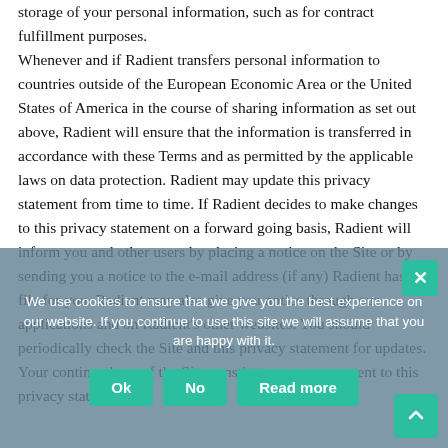storage of your personal information, such as for contract fulfillment purposes. Whenever and if Radient transfers personal information to countries outside of the European Economic Area or the United States of America in the course of sharing information as set out above, Radient will ensure that the information is transferred in accordance with these Terms and as permitted by the applicable laws on data protection. Radient may update this privacy statement from time to time. If Radient decides to make changes to this privacy statement on a forward going basis, Radient will inform you and other users by placing a notice on the Site or by sending you a notice to the e-mail address (if any) Radient has on file for you. Radient may also give you notice through our applications and on Radient's other websites. You should periodically check the Site and this privacy statement for updates. Your continued use of the Site constitutes your agreement to this privacy statement.
We use cookies to ensure that we give you the best experience on our website. If you continue to use this site we will assume that you are happy with it.